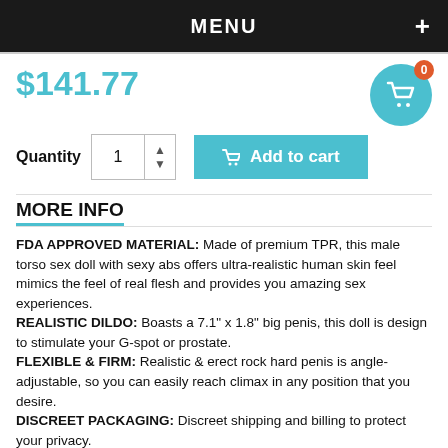MENU
$141.77
Quantity 1  Add to cart
MORE INFO
FDA APPROVED MATERIAL: Made of premium TPR, this male torso sex doll with sexy abs offers ultra-realistic human skin feel mimics the feel of real flesh and provides you amazing sex experiences. REALISTIC DILDO: Boasts a 7.1" x 1.8" big penis, this doll is design to stimulate your G-spot or prostate. FLEXIBLE & FIRM: Realistic & erect rock hard penis is angle-adjustable, so you can easily reach climax in any position that you desire. DISCREET PACKAGING: Discreet shipping and billing to protect your privacy.
With a huge dildo and 8-pack that begs for your touching, this lifelike male torso is all your hottest fantasies. Made of TPR for an ultra-realistic feel, the big penis can always take you to orgasm heaven.